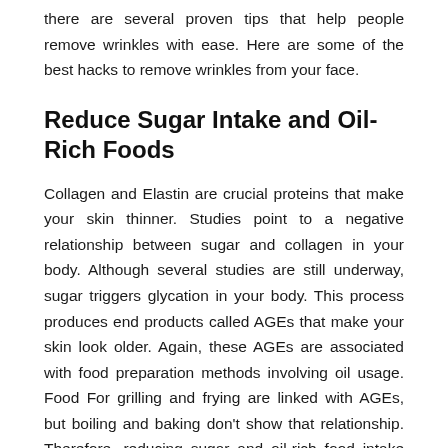there are several proven tips that help people remove wrinkles with ease. Here are some of the best hacks to remove wrinkles from your face.
Reduce Sugar Intake and Oil-Rich Foods
Collagen and Elastin are crucial proteins that make your skin thinner. Studies point to a negative relationship between sugar and collagen in your body. Although several studies are still underway, sugar triggers glycation in your body. This process produces end products called AGEs that make your skin look older. Again, these AGEs are associated with food preparation methods involving oil usage. Food For grilling and frying are linked with AGEs, but boiling and baking don't show that relationship. Therefore, reducing sugar and oil-rich food intake can help revive your skin's smoothness.